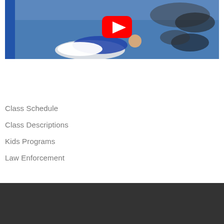[Figure (photo): YouTube video thumbnail showing martial arts / grappling class on a blue mat. A YouTube play button (red rectangle with white triangle) is centered. People are practicing ground techniques. A blue pillar is visible on the left.]
Class Schedule
Class Descriptions
Kids Programs
Law Enforcement